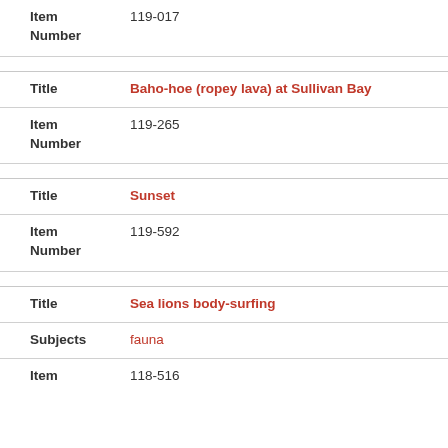Item Number: 119-017
Title: Baho-hoe (ropey lava) at Sullivan Bay
Item Number: 119-265
Title: Sunset
Item Number: 119-592
Title: Sea lions body-surfing
Subjects: fauna
Item: 118-516